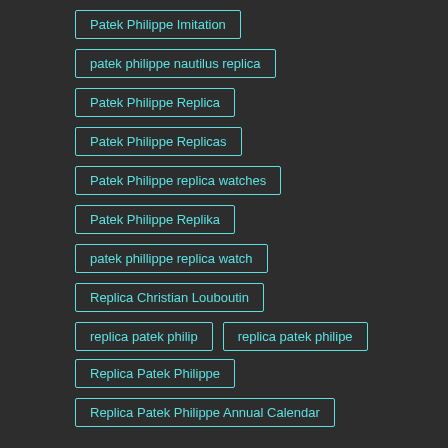Patek Philippe Imitation
patek philippe nautilus replica
Patek Philippe Replica
Patek Philippe Replicas
Patek Philippe replica watches
Patek Philippe Replika
patek phillippe replica watch
Replica Christian Louboutin
replica patek philip
replica patek philipe
Replica Patek Philippe
Replica Patek Philippe Annual Calendar